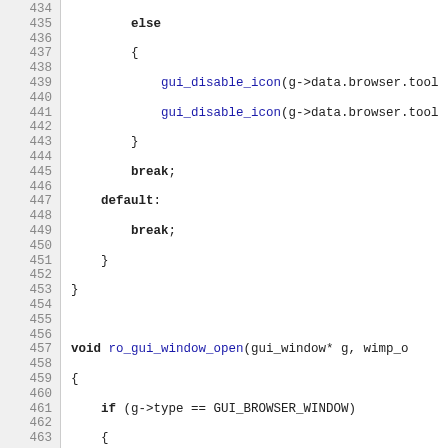[Figure (screenshot): Source code listing in C, lines 434-463, showing a code editor view with line numbers on the left and syntax-highlighted C code on the right. Keywords are bold black, function calls are blue, and regular code is black monospace text.]